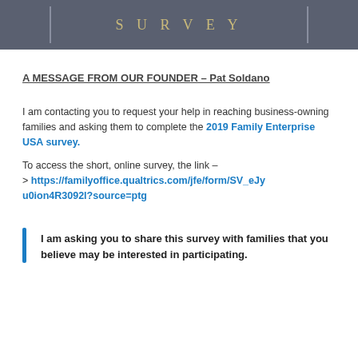[Figure (illustration): Dark gray banner with gold/tan serif text reading 'SURVEY' in uppercase with wide letter-spacing, flanked by vertical lines on left and right sides.]
A MESSAGE FROM OUR FOUNDER – Pat Soldano
I am contacting you to request your help in reaching business-owning families and asking them to complete the 2019 Family Enterprise USA survey.
To access the short, online survey, the link –
> https://familyoffice.qualtrics.com/jfe/form/SV_eJyu0ion4R3092l?source=ptg
I am asking you to share this survey with families that you believe may be interested in participating.